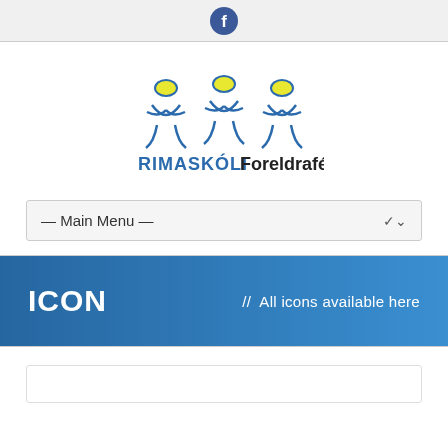[Figure (logo): Facebook icon circle in dark blue]
[Figure (logo): RIMASKÓLI Foreldrafélag logo with three stylized figures with yellow oval heads in blue outline, text RIMASKÓLI in blue bold and Foreldrafélag in dark bold]
— Main Menu —
ICON  //  All icons available here